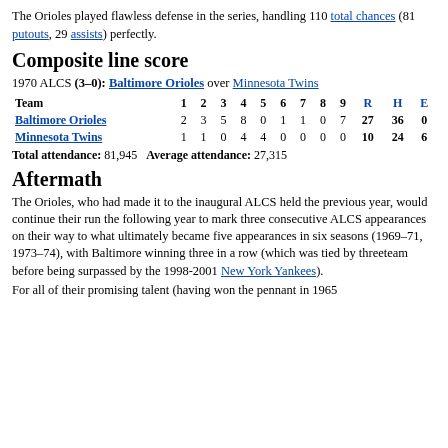The Orioles played flawless defense in the series, handling 110 total chances (81 putouts, 29 assists) perfectly.
Composite line score
1970 ALCS (3–0): Baltimore Orioles over Minnesota Twins
| Team | 1 | 2 | 3 | 4 | 5 | 6 | 7 | 8 | 9 | R | H | E |
| --- | --- | --- | --- | --- | --- | --- | --- | --- | --- | --- | --- | --- |
| Baltimore Orioles | 2 | 3 | 5 | 8 | 0 | 1 | 1 | 0 | 7 | 27 | 36 | 0 |
| Minnesota Twins | 1 | 1 | 0 | 4 | 4 | 0 | 0 | 0 | 0 | 10 | 24 | 6 |
Total attendance: 81,945   Average attendance: 27,315
Aftermath
The Orioles, who had made it to the inaugural ALCS held the previous year, would continue their run the following year to mark three consecutive ALCS appearances on their way to what ultimately became five appearances in six seasons (1969–71, 1973–74), with Baltimore winning three in a row (which was tied by threeteam before being surpassed by the 1998-2001 New York Yankees).
For all of their promising talent (having won the pennant in 1965